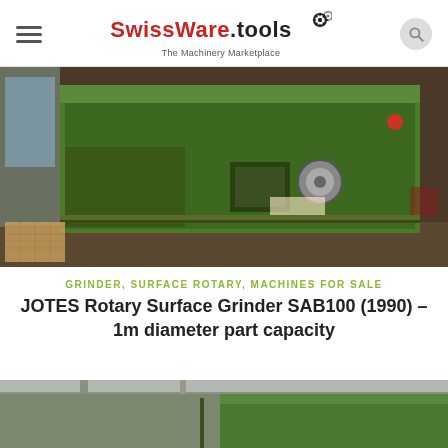SwissWare.tools — The Machinery Marketplace
[Figure (photo): Large green industrial rotary surface grinder machine (JOTES SAB100) on a factory floor, photographed from the side/front showing the green metal casing, control panel, and workshop background.]
GRINDER, SURFACE ROTARY, MACHINES FOR SALE
JOTES Rotary Surface Grinder SAB100 (1990) – 1m diameter part capacity
[Figure (photo): Partial view of another industrial machine in a workshop setting, showing green machinery and overhead crane structures.]